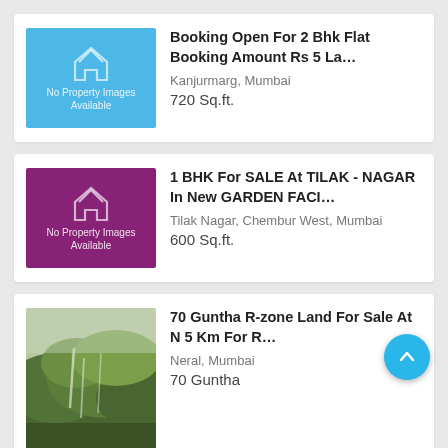[Figure (other): Blue placeholder card with house icon and text 'No Property Images Available']
Booking Open For 2 Bhk Flat Booking Amount Rs 5 La…
Kanjurmarg, Mumbai
720 Sq.ft.
[Figure (other): Purple placeholder card with house icon and text 'No Property Images Available']
1 BHK For SALE At TILAK - NAGAR In New GARDEN FACI…
Tilak Nagar, Chembur West, Mumbai
600 Sq.ft.
[Figure (photo): Landscape photo of green forested hills with waterfalls and mist]
70 Guntha R-zone Land For Sale At N 5 Km For R…
Neral, Mumbai
70 Guntha